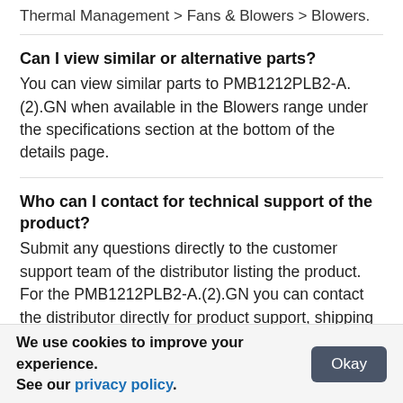Thermal Management > Fans & Blowers > Blowers.
Can I view similar or alternative parts?
You can view similar parts to PMB1212PLB2-A.(2).GN when available in the Blowers range under the specifications section at the bottom of the details page.
Who can I contact for technical support of the product?
Submit any questions directly to the customer support team of the distributor listing the product. For the PMB1212PLB2-A.(2).GN you can contact the distributor directly for product support, shipping queries etc.
Is the PMB1212PLB2-A.(2).GN RoHS compliant?
We use cookies to improve your experience. See our privacy policy.